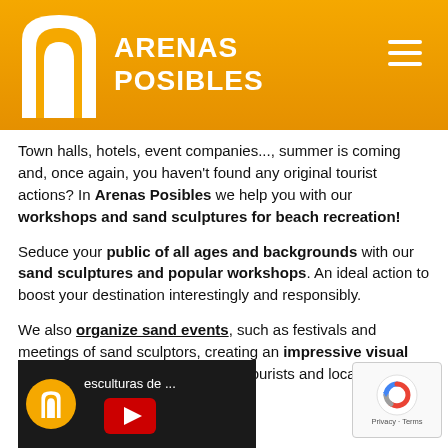ARENAS POSIBLES
Town halls, hotels, event companies..., summer is coming and, once again, you haven't found any original tourist actions? In Arenas Posibles we help you with our workshops and sand sculptures for beach recreation!
Seduce your public of all ages and backgrounds with our sand sculptures and popular workshops. An ideal action to boost your destination interestingly and responsibly.
We also organize sand events, such as festivals and meetings of sand sculptors, creating an impressive visual show that attracts the attention of tourists and locals.
[Figure (screenshot): Video thumbnail showing Arenas Posibles YouTube video with text 'esculturas de ...' and a play button]